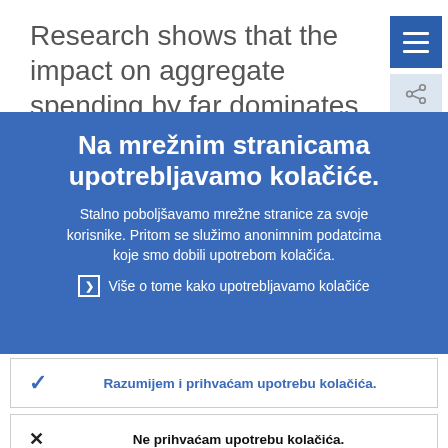Research shows that the impact on aggregate spending by far dominates the
Na mrežnim stranicama upotrebljavamo kolačiće.
Stalno poboljšavamo mrežne stranice za svoje korisnike. Pritom se služimo anonimnim podatcima koje smo dobili upotrebom kolačića.
Više o tome kako upotrebljavamo kolačiće
Razumijem i prihvaćam upotrebu kolačića.
Ne prihvaćam upotrebu kolačića.